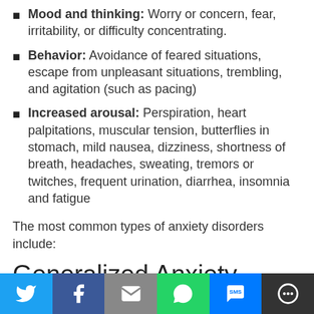Mood and thinking: Worry or concern, fear, irritability, or difficulty concentrating.
Behavior: Avoidance of feared situations, escape from unpleasant situations, trembling, and agitation (such as pacing)
Increased arousal: Perspiration, heart palpitations, muscular tension, butterflies in stomach, mild nausea, dizziness, shortness of breath, headaches, sweating, tremors or twitches, frequent urination, diarrhea, insomnia and fatigue
The most common types of anxiety disorders include:
Generalized Anxiety Disorder
[Figure (infographic): Social sharing footer bar with six buttons: Twitter (blue), Facebook (dark blue), Email (gray), WhatsApp (green), SMS (blue), More (dark gray)]